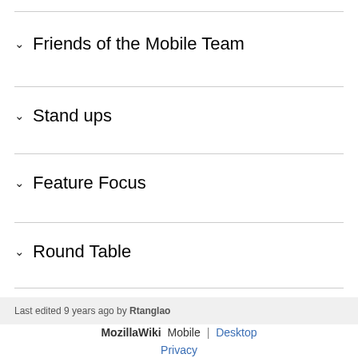Friends of the Mobile Team
Stand ups
Feature Focus
Round Table
Last edited 9 years ago by Rtanglao
MozillaWiki   Mobile  |  Desktop
Privacy